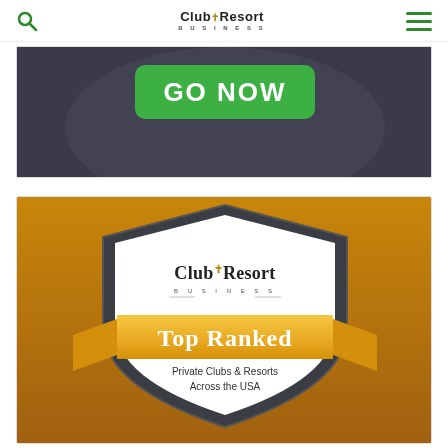Club+Resort Business
[Figure (screenshot): Dark background ad banner with a green 'GO NOW' button visible at the top]
[Figure (infographic): Club+Resort Business 'Top Ranked' badge/shield on a gold background with text: 'Private Clubs & Resorts Across the USA']